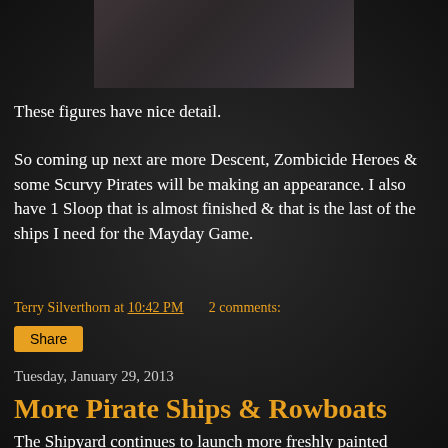[Figure (photo): Top portion of a painted miniature figure on dark background, only the upper part visible]
These figures have nice detail.
So coming up next are more Descent, Zombicide Heroes & some Scurvy Pirates will be making an appearance. I also have 1 Sloop that is almost finished & that is the last of the ships I need for the Mayday Game.
Terry Silverthorn at 10:42 PM   2 comments:
Share
Tuesday, January 29, 2013
More Pirate Ships & Rowboats
The Shipyard continues to launch more freshly painted 28mm Pirate Ships. As well a couple more of the